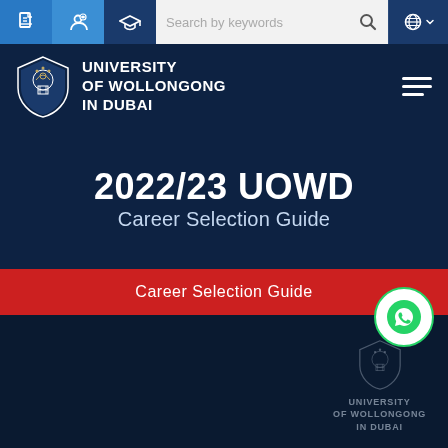[Figure (screenshot): University website navigation bar with icons for user, student, graduation cap, search field, and globe/language selector]
[Figure (logo): University of Wollongong in Dubai logo with shield crest and white text on dark navy background, with hamburger menu]
2022/23 UOWD
Career Selection Guide
Career Selection Guide
[Figure (logo): University of Wollongong in Dubai shield logo watermark on dark navy background]